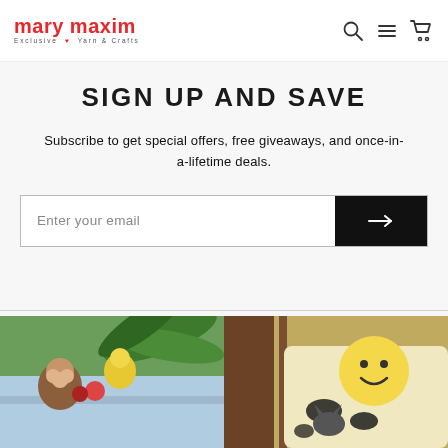mary maxim — Exclusive Yarn & Crafts
SIGN UP AND SAVE
Subscribe to get special offers, free giveaways, and once-in-a-lifetime deals.
Enter your email
[Figure (screenshot): Two craft/yarn product images side by side at the bottom of the page. Left image shows colorful stuffed animal toys (monkey, bird) with tropical plants. Right image shows a knitted/crocheted scene with a cow and yellow character.]